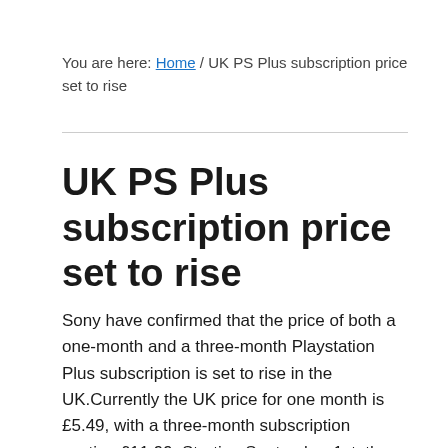You are here: Home / UK PS Plus subscription price set to rise
UK PS Plus subscription price set to rise
Sony have confirmed that the price of both a one-month and a three-month Playstation Plus subscription is set to rise in the UK.Currently the UK price for one month is £5.49, with a three-month subscription costing £11.99. Starting September 1st, the prices are set to rise, though the new pricing model are yet to be confirmed.This change